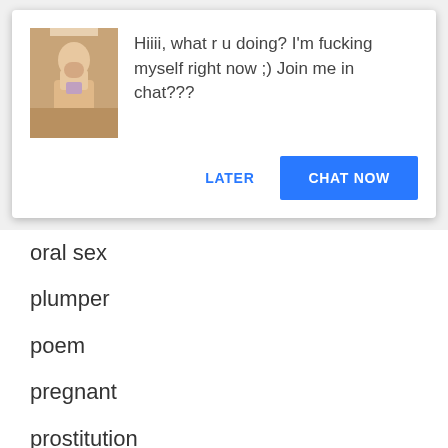[Figure (screenshot): A popup/dialog card with a thumbnail photo on the left and text on the right reading: Hiiii, what r u doing? I'm fucking myself right now ;) Join me in chat??? With two buttons: LATER and CHAT NOW]
oral sex
plumper
poem
pregnant
prostitution
rape
reluctance
romance